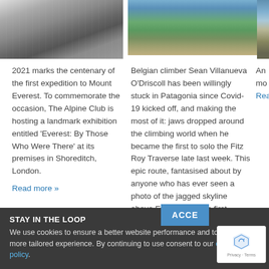[Figure (photo): Black and white photo of a mountain glacier with climbers, left column]
[Figure (photo): Color photo of a mountain landscape with a road through green plains, middle column]
[Figure (photo): Color photo of a mountain, right column (partially visible)]
2021 marks the centenary of the first expedition to Mount Everest. To commemorate the occasion, The Alpine Club is hosting a landmark exhibition entitled 'Everest: By Those Who Were There' at its premises in Shoreditch, London.
Read more »
Belgian climber Sean Villanueva O'Driscoll has been willingly stuck in Patagonia since Covid-19 kicked off, and making the most of it: jaws dropped around the climbing world when he became the first to solo the Fitz Roy Traverse late last week. This epic route, fantasised about by anyone who has ever seen a photo of the jagged skyline above El Chalten, was first completed by the dream simul-climbing team of Alex Honnold and Tommy Caldwell in 2014. The route traverses the iconic Cerro Fitz Roy and its six satellite peaks: 5km of ridge line with 6,000m of vertical gain.
Read more »
An... mo... Rea...
STAY IN THE LOOP
We use cookies to ensure a better website performance and to give you a more tailored experience. By continuing to use consent to our cookie policy.